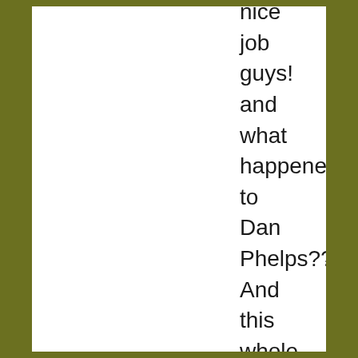nice job guys! and what happened to Dan Phelps?? And this whole new standing and getting up and down ALL throughout the show.. Come one people show some